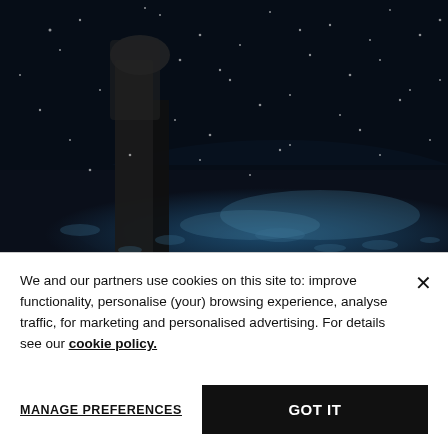[Figure (photo): Dark moody photo of a person standing in rain or snow at night, with wet ground reflecting blue-teal light and visible raindrops/snowflakes in the air]
We and our partners use cookies on this site to: improve functionality, personalise (your) browsing experience, analyse traffic, for marketing and personalised advertising. For details see our cookie policy.
MANAGE PREFERENCES
GOT IT